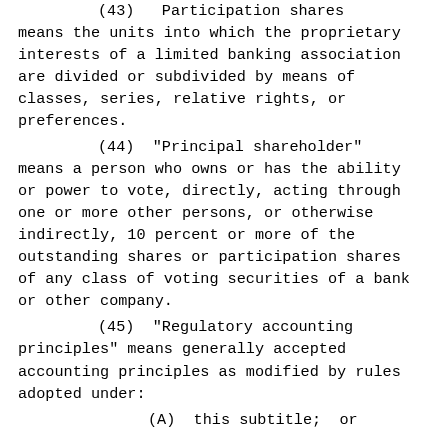(43)  Participation shares means the units into which the proprietary interests of a limited banking association are divided or subdivided by means of classes, series, relative rights, or preferences.
(44)  "Principal shareholder" means a person who owns or has the ability or power to vote, directly, acting through one or more other persons, or otherwise indirectly, 10 percent or more of the outstanding shares or participation shares of any class of voting securities of a bank or other company.
(45)  "Regulatory accounting principles" means generally accepted accounting principles as modified by rules adopted under:
(A)  this subtitle;  or